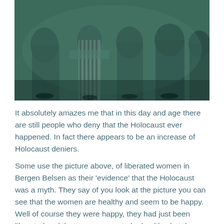[Figure (photo): Black and white photograph with teal/green tint showing a group of women, some in striped prisoner uniforms, after liberation at Bergen Belsen concentration camp. The women are standing together, some holding items.]
It absolutely amazes me that in this day and age there are still people who deny that the Holocaust ever happened. In fact there appears to be an increase of Holocaust deniers.
Some use the picture above, of liberated women in Bergen Belsen as their 'evidence' that the Holocaust was a myth. They say of you look at the picture you can see that the women are healthy and seem to be happy. Well of course they were happy, they had just been liberated and they may appear to be healthy, but they are fully covered up